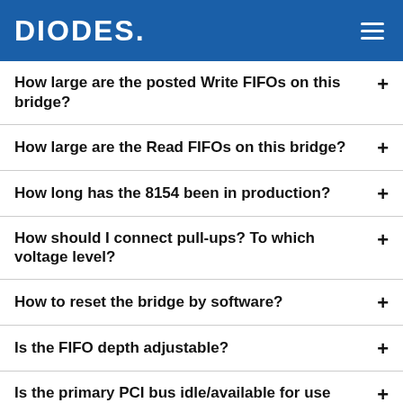DIODES
How large are the posted Write FIFOs on this bridge?
How large are the Read FIFOs on this bridge?
How long has the 8154 been in production?
How should I connect pull-ups? To which voltage level?
How to reset the bridge by software?
Is the FIFO depth adjustable?
Is the primary PCI bus idle/available for use while traffic moves from S1 to S2?
Is there a way to prevent devices on S1 to communicate with devices on S2?